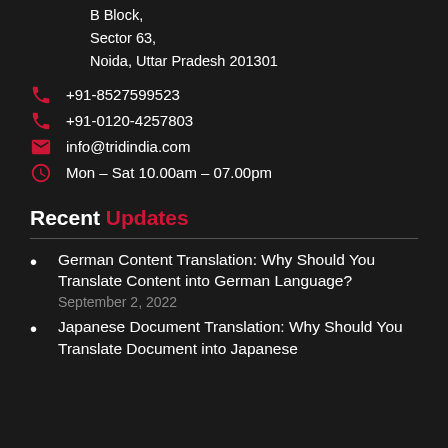B Block,
Sector 63,
Noida, Uttar Pradesh 201301
+91-8527599523
+91-0120-4257803
info@tridindia.com
Mon – Sat 10.00am – 07.00pm
Recent Updates
German Content Translation: Why Should You Translate Content into German Language?
September 2, 2022
Japanese Document Translation: Why Should You Translate Document into Japanese